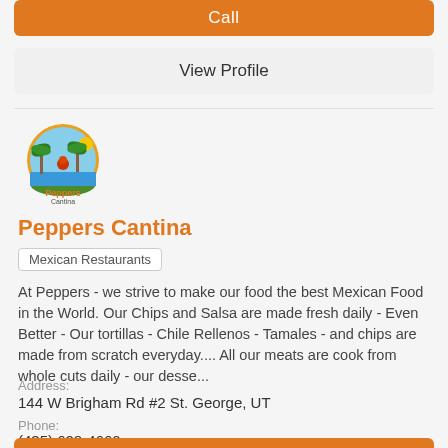Call
View Profile
[Figure (logo): Peppers Cantina restaurant logo with palm trees and parrot in a circular design]
Peppers Cantina
Mexican Restaurants
At Peppers - we strive to make our food the best Mexican Food in the World. Our Chips and Salsa are made fresh daily - Even Better - Our tortillas - Chile Rellenos - Tamales - and chips are made from scratch everyday.... All our meats are cook from whole cuts daily - our desse...
Address:
144 W Brigham Rd #2 St. George, UT
Phone:
(435) 628-4660